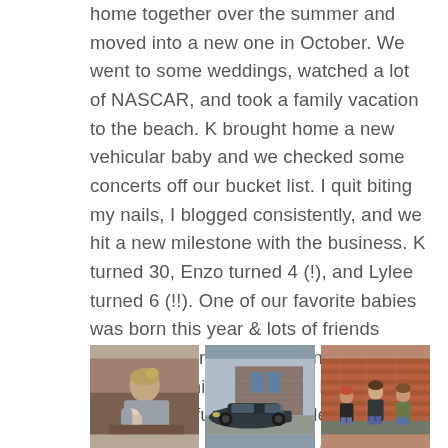home together over the summer and moved into a new one in October. We went to some weddings, watched a lot of NASCAR, and took a family vacation to the beach. K brought home a new vehicular baby and we checked some concerts off our bucket list. I quit biting my nails, I blogged consistently, and we hit a new milestone with the business. K turned 30, Enzo turned 4 (!), and Lylee turned 6 (!!). One of our favorite babies was born this year & lots of friends announced pregnancies, engagements, and new significant others. For us, it was a stressful year full of learning and change, but I wouldn't take any of it back.
[Figure (photo): Three photos in a row: (1) a person holding a newborn baby indoors with warm brown tones, (2) a dark car parked outside a brick building, (3) three people standing in front of a red brick wall.]